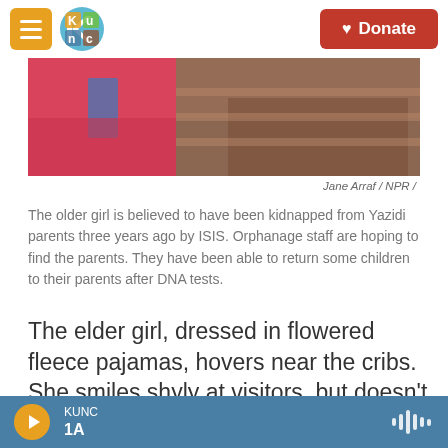KUNC | Donate
[Figure (photo): Partial photo of children, showing colorful clothing and what appears to be cribs or beds in a facility.]
Jane Arraf / NPR /
The older girl is believed to have been kidnapped from Yazidi parents three years ago by ISIS. Orphanage staff are hoping to find the parents. They have been able to return some children to their parents after DNA tests.
The elder girl, dressed in flowered fleece pajamas, hovers near the cribs. She smiles shyly at visitors, but doesn't speak.
"She's from Mosul, but we don't know from where," says one of the caregivers, who asked to be called
KUNC 1A